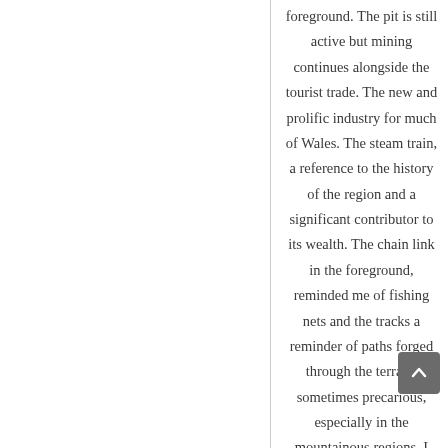foreground. The pit is still active but mining continues alongside the tourist trade. The new and prolific industry for much of Wales. The steam train, a reference to the history of the region and a significant contributor to its wealth. The chain link in the foreground, reminded me of fishing nets and the tracks a reminder of paths forged through the terrain, sometimes precarious, especially in the mountainous regions. I borke it down so the details of the train could dominate.

Wales has a rich industrial history with a gritty appearance,